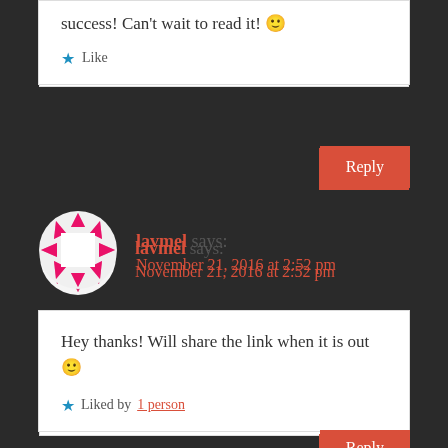success! Can't wait to read it! 🙂
★ Like
Reply
lavmel says:
November 21, 2016 at 2:52 pm
Hey thanks! Will share the link when it is out 🙂
★ Liked by 1 person
Reply
Pingback: Part Star Part Dust by L.M. Valiram - Life